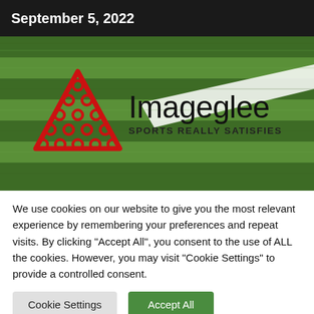September 5, 2022
[Figure (photo): Sports field grass with white line markings, with Imageglee logo overlay — a red triangle made of circles and the text 'Imageglee / SPORTS REALLY SATISFIES']
We use cookies on our website to give you the most relevant experience by remembering your preferences and repeat visits. By clicking "Accept All", you consent to the use of ALL the cookies. However, you may visit "Cookie Settings" to provide a controlled consent.
Cookie Settings   Accept All